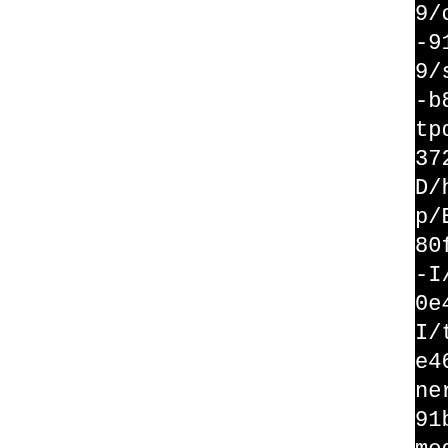[Figure (screenshot): Terminal/build output showing compiler include paths for httpd-2.2.29 build with long path strings including UUIDs like e580372e-b877-4a09-91b4-dafd0e46e80f, showing modules for os/unix, server/mpm/worker, http, filters, generators, mappers, database, apr, buildmpm-worker, proxy]